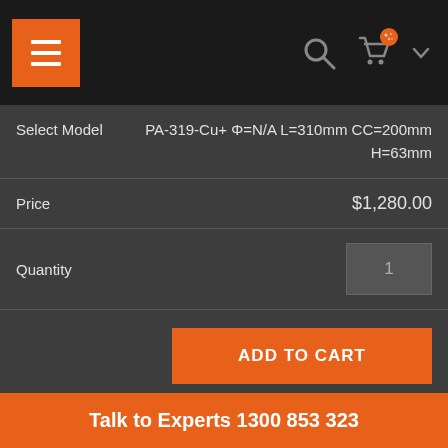Navigation bar with hamburger menu, search, cart icons
| Field | Value |
| --- | --- |
| Select Model | PA-319-Cu+ Φ=N/A L=310mm CC=200mm H=63mm |
| Price | $1,280.00 |
| Quantity | 1 |
ADD TO CART
SKU: PA-319-CU+
CATEGORIES: ANTIMICROBIAL HANDLES, BRASS, BROWSE ALL HANDLES, BROWSE HANDLES BY FINISH, BROWSE HANDLES BY LENGTH, BROWSE HANDLES BY SHAPE, DESIGNER PULL DOOR HANDLES, LENGTH RANGE 201-400 MM
Talk to Experts 1300 853 323